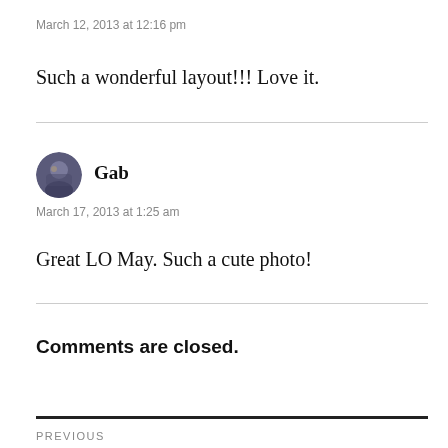March 12, 2013 at 12:16 pm
Such a wonderful layout!!! Love it.
[Figure (illustration): Circular avatar photo of commenter Gab]
Gab
March 17, 2013 at 1:25 am
Great LO May. Such a cute photo!
Comments are closed.
PREVIOUS